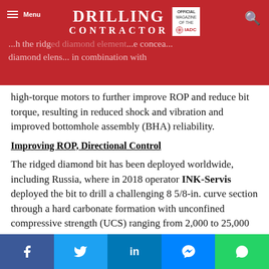DRILLING CONTRACTOR — Official Magazine of the IADC
...the ridged diamond element...in combination with high-torque motors to further improve ROP and reduce bit torque, resulting in reduced shock and vibration and improved bottomhole assembly (BHA) reliability.
Improving ROP, Directional Control
The ridged diamond bit has been deployed worldwide, including Russia, where in 2018 operator INK-Servis deployed the bit to drill a challenging 8 5/8-in. curve section through a hard carbonate formation with unconfined compressive strength (UCS) ranging from 2,000 to 25,000 psi. The well, located in the Yaraktinskoe field in Eastern Siberia, features a depth
Facebook | Twitter | LinkedIn | Messenger | WhatsApp